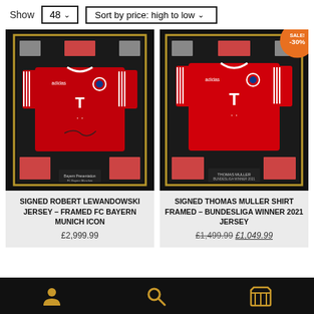Show 48 ▾   Sort by price: high to low ▾
[Figure (photo): Framed signed Robert Lewandowski Bayern Munich red jersey with photos]
SIGNED ROBERT LEWANDOWSKI JERSEY – FRAMED FC BAYERN MUNICH ICON
£2,999.99
[Figure (photo): Framed signed Thomas Muller Bayern Munich red jersey with photos and SALE -30% badge]
SIGNED THOMAS MULLER SHIRT FRAMED – BUNDESLIGA WINNER 2021 JERSEY
£1,499.99 £1,049.99
User icon | Search icon | Basket icon